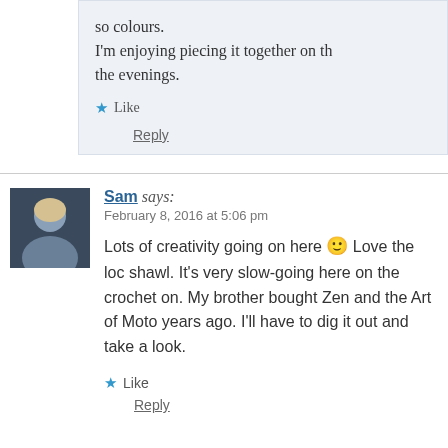so colours.
I'm enjoying piecing it together on th the evenings.
★ Like
Reply
Sam says:
February 8, 2016 at 5:06 pm
Lots of creativity going on here 🙂 Love the loc shawl. It's very slow-going here on the crochet on. My brother bought Zen and the Art of Moto years ago. I'll have to dig it out and take a look.
★ Like
Reply